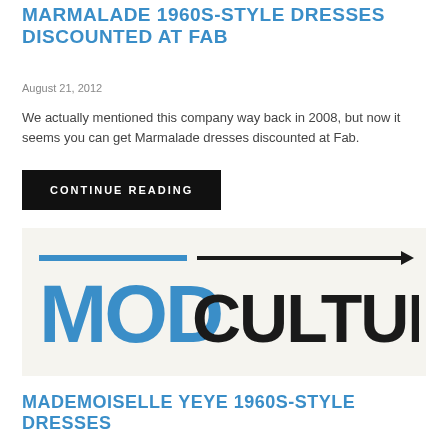MARMALADE 1960S-STYLE DRESSES DISCOUNTED AT FAB
August 21, 2012
We actually mentioned this company way back in 2008, but now it seems you can get Marmalade dresses discounted at Fab.
CONTINUE READING
[Figure (logo): MOD CULTURE logo with blue MOD text and dark CULTURE text, with a horizontal arrow line above]
MADEMOISELLE YEYE 1960S-STYLE DRESSES